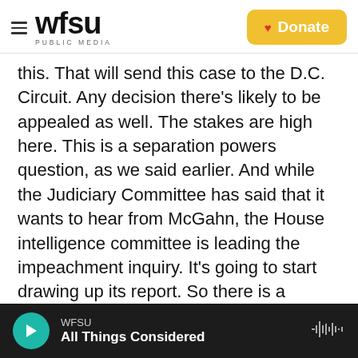wfsu PUBLIC MEDIA | Donate
this. That will send this case to the D.C. Circuit. Any decision there's likely to be appealed as well. The stakes are high here. This is a separation powers question, as we said earlier. And while the Judiciary Committee has said that it wants to hear from McGahn, the House intelligence committee is leading the impeachment inquiry. It's going to start drawing up its report. So there is a constricted timeframe for all this to happen.
INSKEEP: Yet another news story that's compelling on its face and also a kind of civics lesson. Ryan, thanks so much.
WFSU | All Things Considered